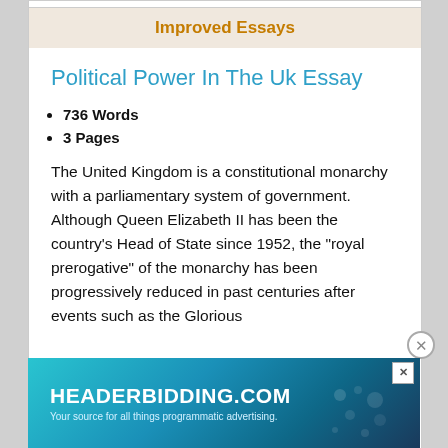Improved Essays
Political Power In The Uk Essay
736 Words
3 Pages
The United Kingdom is a constitutional monarchy with a parliamentary system of government. Although Queen Elizabeth II has been the country’s Head of State since 1952, the “royal prerogative” of the monarchy has been progressively reduced in past centuries after events such as the Glorious
[Figure (screenshot): Advertisement banner for HEADERBIDDING.COM with tagline 'Your source for all things programmatic advertising.' on a blue-green gradient background.]